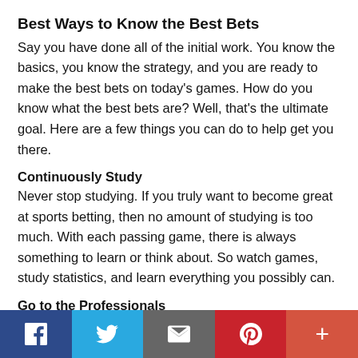Best Ways to Know the Best Bets
Say you have done all of the initial work. You know the basics, you know the strategy, and you are ready to make the best bets on today’s games. How do you know what the best bets are? Well, that's the ultimate goal. Here are a few things you can do to help get you there.
Continuously Study
Never stop studying. If you truly want to become great at sports betting, then no amount of studying is too much. With each passing game, there is always something to learn or think about. So watch games, study statistics, and learn everything you possibly can.
Go to the Professionals
This one is the big one, especially for people just starting.
Social share bar: Facebook, Twitter, Email, Pinterest, More